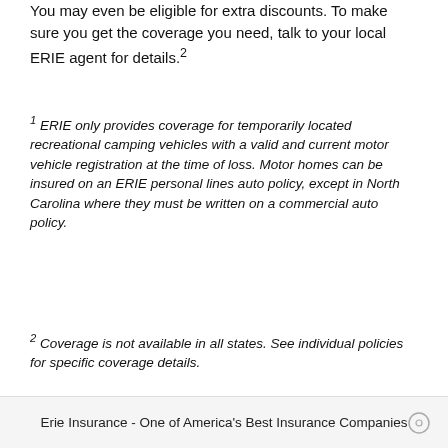You may even be eligible for extra discounts. To make sure you get the coverage you need, talk to your local ERIE agent for details.²
¹ ERIE only provides coverage for temporarily located recreational camping vehicles with a valid and current motor vehicle registration at the time of loss. Motor homes can be insured on an ERIE personal lines auto policy, except in North Carolina where they must be written on a commercial auto policy.
² Coverage is not available in all states. See individual policies for specific coverage details.
Erie Insurance - One of America's Best Insurance Companies